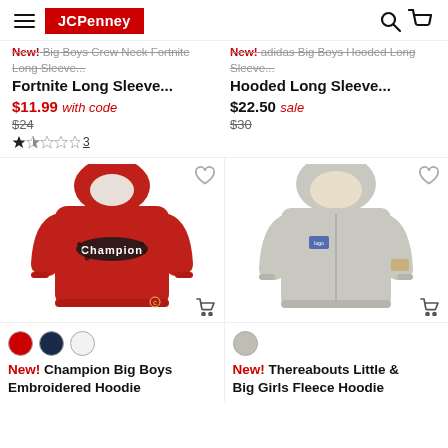JCPenney
New! Big Boys Crew Neck Fortnite Long Sleeve... $11.99 with code $24 (rating: 2 stars, 3 reviews)
New! adidas Big Boys Hooded Long Sleeve... $22.50 sale $30
[Figure (photo): Red Champion hoodie with embroidered logo on chest]
[Figure (photo): Grey Thereabouts fleece zip-up hoodie]
New! Champion Big Boys Embroidered Hoodie
New! Thereabouts Little & Big Girls Fleece Hoodie